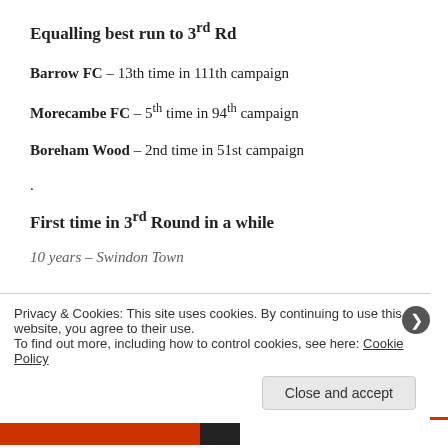Equalling best run to 3rd Rd
Barrow FC – 13th time in 111th campaign
Morecambe FC – 5th time in 94th campaign
Boreham Wood – 2nd time in 51st campaign
.
First time in 3rd Round in a while
10 years – Swindon Town
Privacy & Cookies: This site uses cookies. By continuing to use this website, you agree to their use. To find out more, including how to control cookies, see here: Cookie Policy
Close and accept